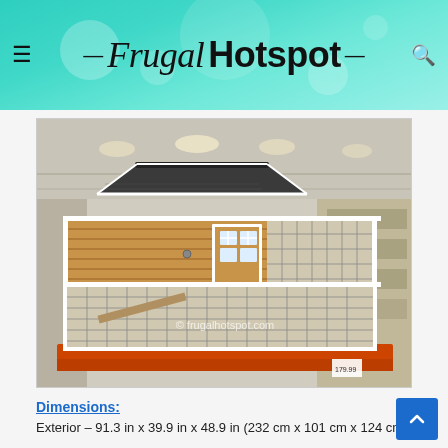Frugal Hotspot
[Figure (photo): A large wooden chicken coop with white trim, a peaked roof, wire mesh enclosure on the bottom, displayed in a warehouse store (Costco). The coop has a house-like upper section with a window and a spacious wire run below.]
© frugalhotspot.com
Dimensions:
Exterior – 91.3 in x 39.9 in x 48.9 in  (232 cm x 101 cm x 124 cm)